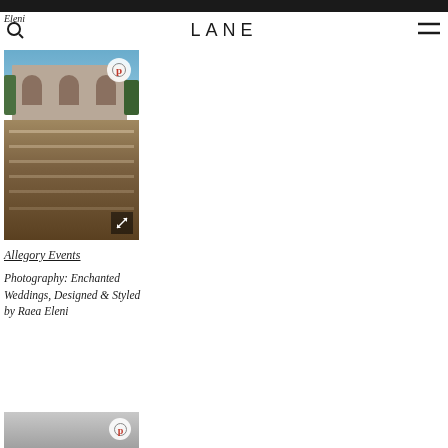LANE
Eleni
[Figure (photo): Outdoor wedding reception with tables and chairs set up in front of a stone building with arched windows, string lights overhead, photographed from above.]
Allegory Events
Photography: Enchanted Weddings, Designed & Styled by Raea Eleni
[Figure (photo): Partial bottom image, grey toned photo with Pinterest icon overlay.]